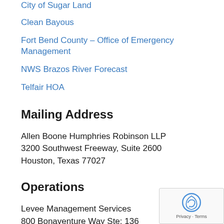City of Sugar Land
Clean Bayous
Fort Bend County – Office of Emergency Management
NWS Brazos River Forecast
Telfair HOA
Mailing Address
Allen Boone Humphries Robinson LLP
3200 Southwest Freeway, Suite 2600
Houston, Texas 77027
Operations
Levee Management Services
800 Bonaventure Way Ste: 136
Sugar Land, Texas 77479